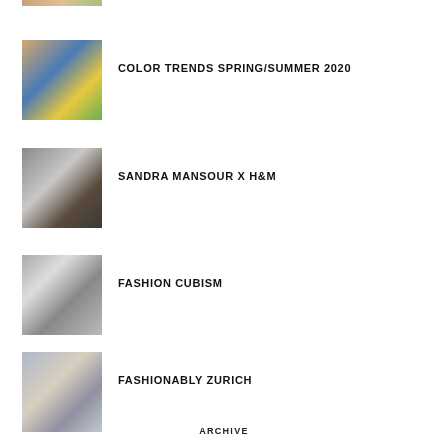[Figure (photo): Partial thumbnail of fashion image at top of page]
[Figure (photo): Thumbnail of colorful fashion models in blue and yellow outfits]
COLOR TRENDS SPRING/SUMMER 2020
[Figure (photo): Thumbnail of Sandra Mansour x H&M fashion item]
SANDRA MANSOUR X H&M
[Figure (photo): Thumbnail of fashion cubism accessories]
FASHION CUBISM
[Figure (photo): Thumbnail of two people in Zurich]
FASHIONABLY ZURICH
ARCHIVE